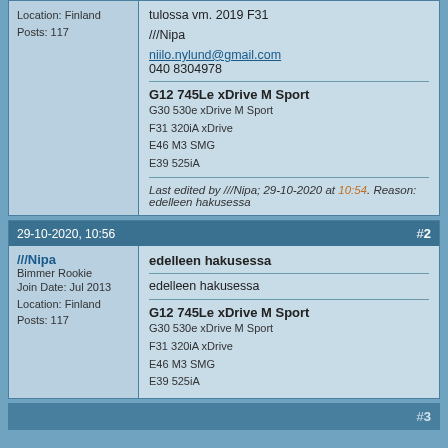Location: Finland
Posts: 117
tulossa vm. 2019 F31

///Nipa

niilo.nylund@gmail.com
040 8304978

G12 745Le xDrive M Sport
G30 530e xDrive M Sport
F31 320iA xDrive
E46 M3 SMG
E39 525iA

Last edited by ///Nipa; 29-10-2020 at 10:54. Reason: edelleen hakusessa
29-10-2020, 10:56  #2
///Nipa
Bimmer Rookie

Join Date: Jul 2013
Location: Finland
Posts: 117
edelleen hakusessa

edelleen hakusessa

G12 745Le xDrive M Sport
G30 530e xDrive M Sport
F31 320iA xDrive
E46 M3 SMG
E39 525iA